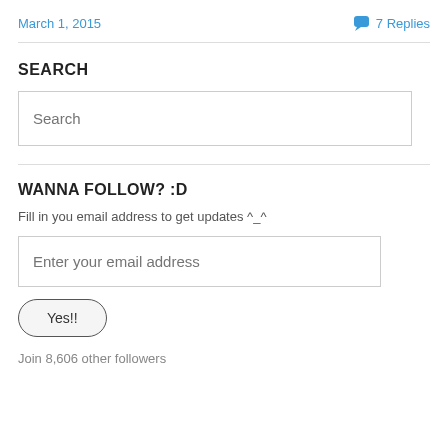March 1, 2015
7 Replies
SEARCH
Search
WANNA FOLLOW? :D
Fill in you email address to get updates ^_^
Enter your email address
Yes!!
Join 8,606 other followers